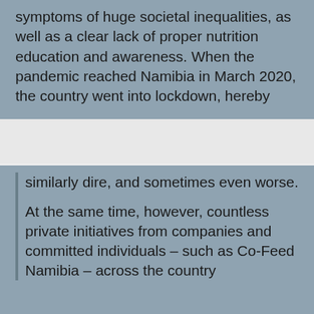symptoms of huge societal inequalities, as well as a clear lack of proper nutrition education and awareness. When the pandemic reached Namibia in March 2020, the country went into lockdown, hereby
This website uses cookies for analysis to give you the best possible content. You can revoke your consent to the use of cookies at any time.
Data protection statement.
Accept all
Settings
similarly dire, and sometimes even worse.
At the same time, however, countless private initiatives from companies and committed individuals – such as Co-Feed Namibia – across the country